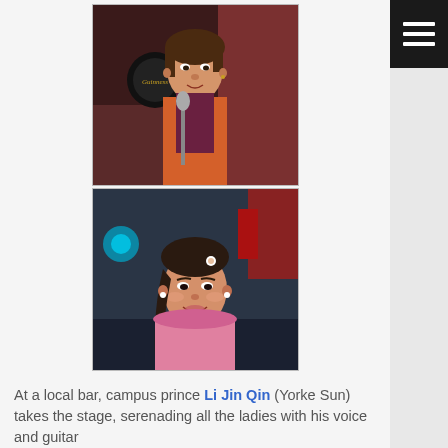[Figure (photo): Young Asian man singing at a microphone on stage at a bar with a Guinness sign visible in the background, wearing an orange and purple outfit]
[Figure (photo): Young Asian woman smiling at a bar/venue, wearing a pink top with a small hair accessory, with braided hair]
At a local bar, campus prince Li Jin Qin (Yorke Sun) takes the stage, serenading all the ladies with his voice and guitar